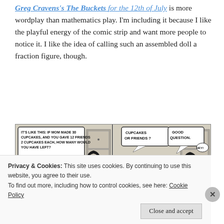Greg Cravens's The Buckets for the 12th of July is more wordplay than mathematics play. I'm including it because I like the playful energy of the comic strip and want more people to notice it. I like the idea of calling such an assembled doll a fraction figure, though.
[Figure (illustration): A two-panel comic strip 'The Buckets'. Left panel: a woman stands by a kitchen asking two children at a table: 'IT'S LIKE THIS: IF MOM MADE 30 CUPCAKES, AND YOU GAVE 12 FRIENDS 2 CUPCAKES EACH, HOW MANY WOULD YOU HAVE LEFT?' Right panel: the children look at each other, one says 'CUPCAKES OR FRIENDS?' and the other replies 'GOOD QUESTION.' with a third figure saying 'HEY!']
Privacy & Cookies: This site uses cookies. By continuing to use this website, you agree to their use.
To find out more, including how to control cookies, see here: Cookie Policy